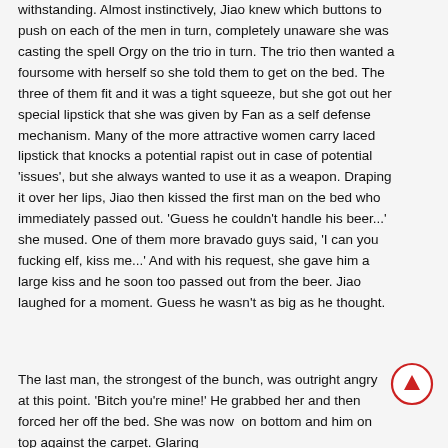withstanding. Almost instinctively, Jiao knew which buttons to push on each of the men in turn, completely unaware she was casting the spell Orgy on the trio in turn. The trio then wanted a foursome with herself so she told them to get on the bed. The three of them fit and it was a tight squeeze, but she got out her special lipstick that she was given by Fan as a self defense mechanism. Many of the more attractive women carry laced lipstick that knocks a potential rapist out in case of potential 'issues', but she always wanted to use it as a weapon. Draping it over her lips, Jiao then kissed the first man on the bed who immediately passed out. 'Guess he couldn't handle his beer...' she mused. One of them more bravado guys said, 'I can you fucking elf, kiss me...' And with his request, she gave him a large kiss and he soon too passed out from the beer. Jiao laughed for a moment. Guess he wasn't as big as he thought.
The last man, the strongest of the bunch, was outright angry at this point. 'Bitch you're mine!' He grabbed her and then forced her off the bed. She was now  on bottom and him on top against the carpet. Glaring